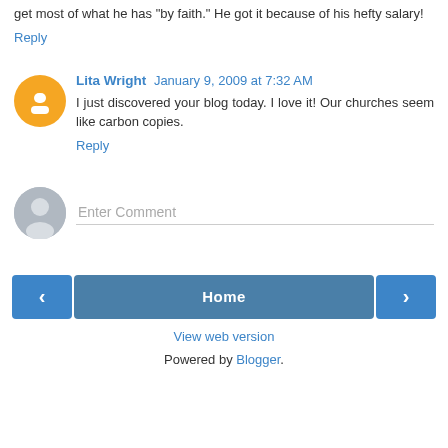get most of what he has "by faith." He got it because of his hefty salary!
Reply
Lita Wright  January 9, 2009 at 7:32 AM
I just discovered your blog today. I love it! Our churches seem like carbon copies.
Reply
[Figure (other): Comment input field with gray avatar icon and 'Enter Comment' placeholder text]
[Figure (other): Navigation row with left arrow button, Home button, and right arrow button]
View web version
Powered by Blogger.